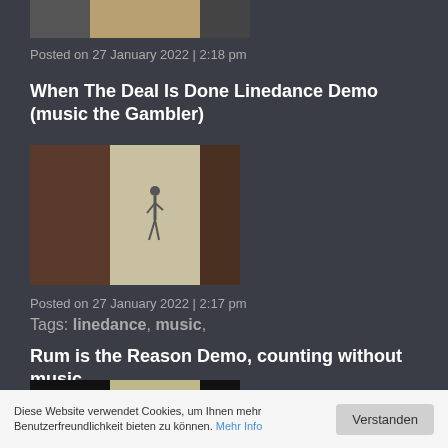[Figure (photo): Partial thumbnail image at top of page showing a dance hall, partially cropped]
Posted on 27 January 2022 | 2:18 pm
When The Deal Is Done Linedance Demo (music the Gambler)
[Figure (photo): Video thumbnail showing a person dancing in a hall, with dark sides and light center]
Posted on 27 January 2022 | 2:17 pm
Tags: linedance, music,
Rum is the Reason Demo, counting without music
[Figure (photo): Video thumbnail showing a person dancing, with black sides and light tan floor in center]
Diese Website verwendet Cookies, um Ihnen mehr Benutzerfreundlichkeit bieten zu können. Mehr Info